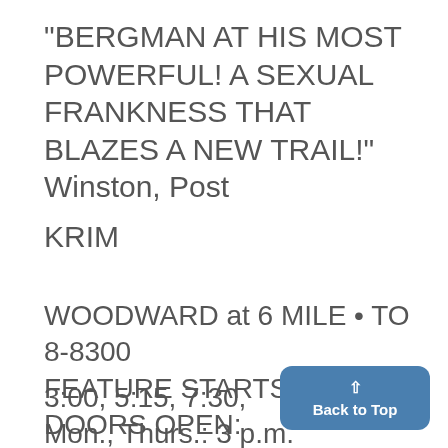"BERGMAN AT HIS MOST POWERFUL! A SEXUAL FRANKNESS THAT BLAZES A NEW TRAIL!" Winston, Post
KRIM
WOODWARD at 6 MILE • TO 8-8300
FEATURE STARTS:
DOORS OPEN:
3:00, 5:15, 7:30,
Mon., Thurs.: 3 p.m.
9:45 p.m.